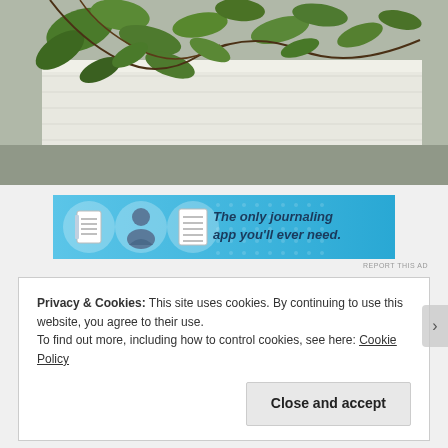[Figure (photo): Close-up photo of green leafy plant hanging over a white wooden surface, with blurred grey ground in the background]
[Figure (infographic): Advertisement banner with light blue background showing icons of a notebook, a person, and a notepad with text 'The only journaling app you'll ever need.']
REPORT THIS AD
Privacy & Cookies: This site uses cookies. By continuing to use this website, you agree to their use.
To find out more, including how to control cookies, see here: Cookie Policy
Close and accept